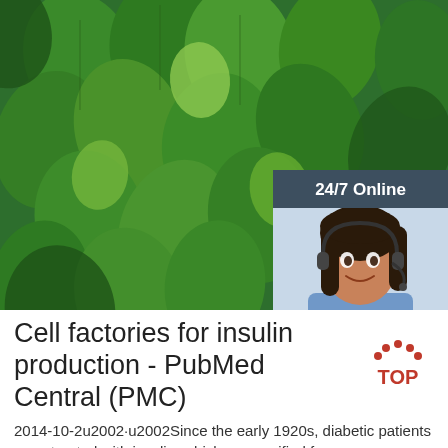[Figure (photo): Close-up photograph of green mint leaves filling the upper portion of the page, with a customer service chat widget overlay in the bottom-right showing '24/7 Online', a woman with a headset, 'Click here for free chat!' text, and an orange QUOTATION button.]
Cell factories for insulin production - PubMed Central (PMC)
2014-10-2u2002·u2002Since the early 1920s, diabetic patients were treated with insulin, which was purified from